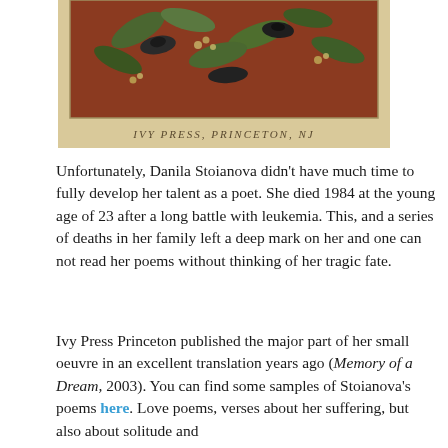[Figure (illustration): Partial view of a book cover with a reddish-brown illustrated background featuring birds and leaves, with text reading 'IVY PRESS, PRINCETON, NJ' at the bottom.]
Unfortunately, Danila Stoianova didn't have much time to fully develop her talent as a poet. She died 1984 at the young age of 23 after a long battle with leukemia. This, and a series of deaths in her family left a deep mark on her and one can not read her poems without thinking of her tragic fate.
Ivy Press Princeton published the major part of her small oeuvre in an excellent translation years ago (Memory of a Dream, 2003). You can find some samples of Stoianova's poems here. Love poems, verses about her suffering, but also about solitude and